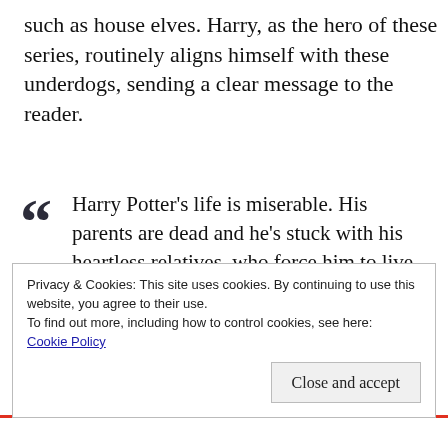such as house elves. Harry, as the hero of these series, routinely aligns himself with these underdogs, sending a clear message to the reader.
Harry Potter's life is miserable. His parents are dead and he's stuck with his heartless relatives, who force him to live in a tiny closet under the stairs. But his fortune changes when he receives a letter that tells him the truth about
Privacy & Cookies: This site uses cookies. By continuing to use this website, you agree to their use.
To find out more, including how to control cookies, see here: Cookie Policy
Close and accept